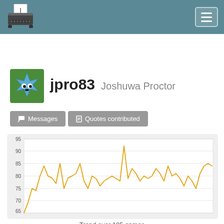typeracer — navigation header with hamburger menu
[Figure (illustration): User avatar: blue star-shaped character with eyes on green background]
jpro83  Joshuwa Proctor
Messages
Quotes contributed
[Figure (line-chart): Line chart showing typing speed trend over 185 games, ranging approximately 65–93 WPM with an overall trend around 80 WPM]
Trend over 185 games